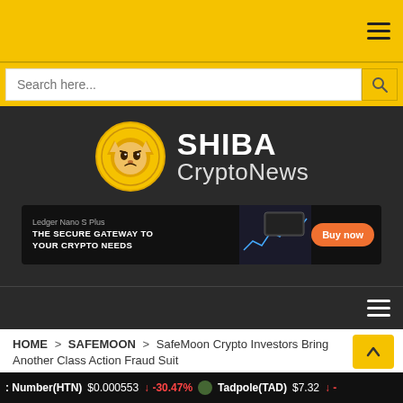[Figure (screenshot): Top gold navigation bar with hamburger menu icon]
[Figure (screenshot): Search bar with placeholder text 'Search here...' and search icon button on gold background]
[Figure (logo): Shiba CryptoNews logo: gold shiba inu coin with SHIBA CryptoNews text on dark background]
[Figure (screenshot): Ledger Nano S Plus advertisement banner: 'THE SECURE GATEWAY TO YOUR CRYPTO NEEDS' with Buy now button]
[Figure (screenshot): Dark navigation bar with hamburger menu icon]
HOME > SAFEMOON > SafeMoon Crypto Investors Bring Another Class Action Fraud Suit
: Number(HTN) $0.000553 ↓ -30.47% Tadpole(TAD) $7.32 ↓-